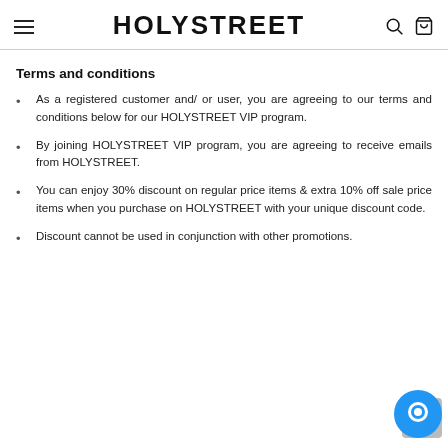HOLYSTREET
Terms and conditions
As a registered customer and/ or user, you are agreeing to our terms and conditions below for our HOLYSTREET VIP program.
By joining HOLYSTREET VIP program, you are agreeing to receive emails from HOLYSTREET.
You can enjoy 30% discount on regular price items & extra 10% off sale price items when you purchase on HOLYSTREET with your unique discount code.
Discount cannot be used in conjunction with other promotions.